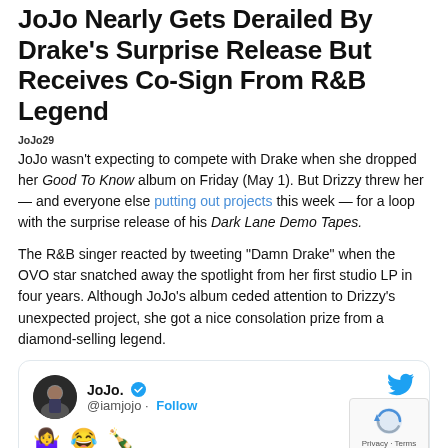JoJo Nearly Gets Derailed By Drake's Surprise Release But Receives Co-Sign From R&B Legend
JoJo wasn't expecting to compete with Drake when she dropped her Good To Know album on Friday (May 1). But Drizzy threw her — and everyone else putting out projects this week — for a loop with the surprise release of his Dark Lane Demo Tapes.
The R&B singer reacted by tweeting "Damn Drake" when the OVO star snatched away the spotlight from her first studio LP in four years. Although JoJo's album ceded attention to Drizzy's unexpected project, she got a nice consolation prize from a diamond-selling legend.
[Figure (screenshot): Tweet card from @iamjojo (JoJo.) with verified badge, Follow button, Twitter bird icon, and emoji row: person shrugging, crying laughing face, champagne bottle.]